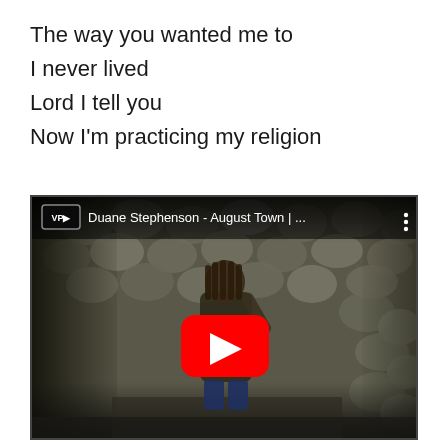The way you wanted me to
I never lived
Lord I tell you
Now I'm practicing my religion
[Figure (screenshot): YouTube video thumbnail/embed showing Duane Stephenson - August Town video. A person stands in front of a stone wall background with a red YouTube play button overlay. The video title bar shows the VP Records logo and title 'Duane Stephenson - August Town |...' with a three-dot menu icon.]